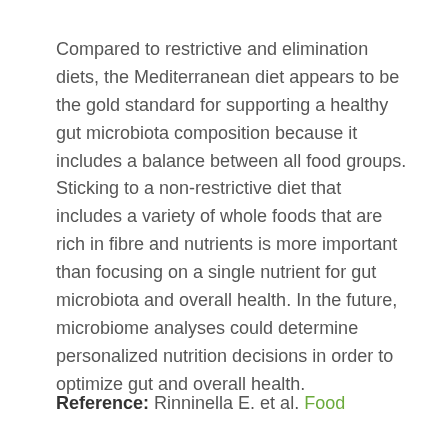Compared to restrictive and elimination diets, the Mediterranean diet appears to be the gold standard for supporting a healthy gut microbiota composition because it includes a balance between all food groups. Sticking to a non-restrictive diet that includes a variety of whole foods that are rich in fibre and nutrients is more important than focusing on a single nutrient for gut microbiota and overall health. In the future, microbiome analyses could determine personalized nutrition decisions in order to optimize gut and overall health.
Reference: Rinninella E. et al. Food